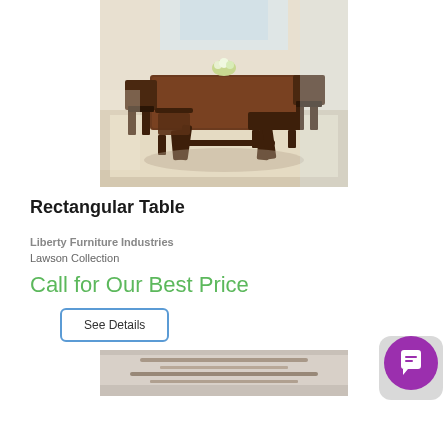[Figure (photo): Photo of a dark wood rectangular dining table with chairs and a bench in a room setting with natural light]
Rectangular Table
Liberty Furniture Industries
Lawson Collection
Call for Our Best Price
See Details
[Figure (photo): Partial photo of another furniture piece at the bottom of the page]